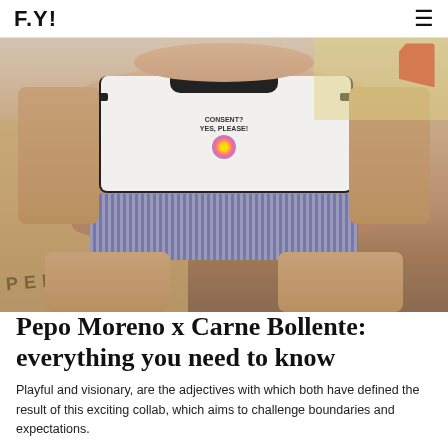F.Y!
[Figure (photo): Person seated in a chair wearing a white ringer t-shirt that reads 'CONSENT? YES, PLEASE!' with a colorful flower graphic, grey striped shorts. Background shows cardboard boxes with 'PEPO' text and a red boot illustration. The person's face is partially obscured.]
Pepo Moreno x Carne Bollente: everything you need to know
Playful and visionary, are the adjectives with which both have defined the result of this exciting collab, which aims to challenge boundaries and expectations.